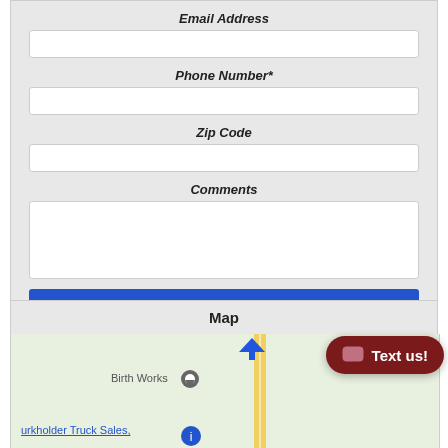Email Address
Phone Number*
Zip Code
Comments
Submit
Map
[Figure (screenshot): Partial map showing Birth Works location marker and a partially visible label for Burkholder Truck Sales, with a vertical yellow road and a blue navigation pin at the top]
Text us!